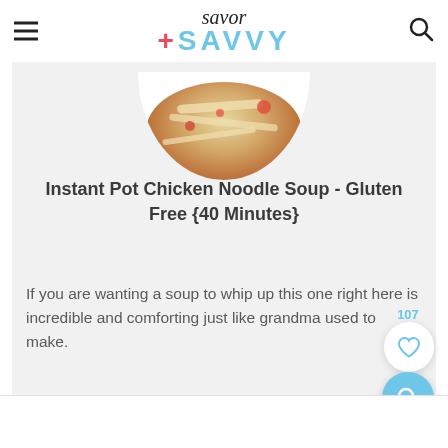[Figure (logo): Savor + Savvy logo with savor in cursive and SAVVY in light blue bold text with a pink plus sign]
[Figure (photo): Partial overhead view of a bowl of chicken noodle soup with noodles and vegetables visible]
Instant Pot Chicken Noodle Soup - Gluten Free {40 Minutes}
If you are wanting a soup to whip up this one right here is incredible and comforting just like grandma used to make.